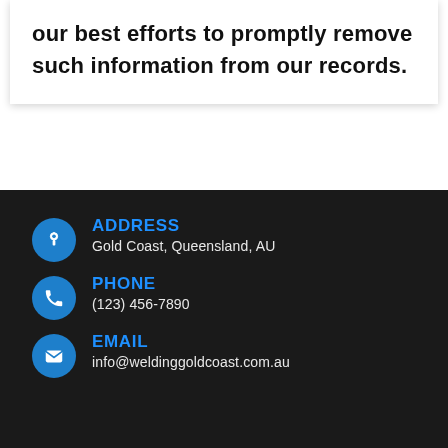our best efforts to promptly remove such information from our records.
ADDRESS
Gold Coast, Queensland, AU
PHONE
(123) 456-7890
EMAIL
info@weldinggoldcoast.com.au